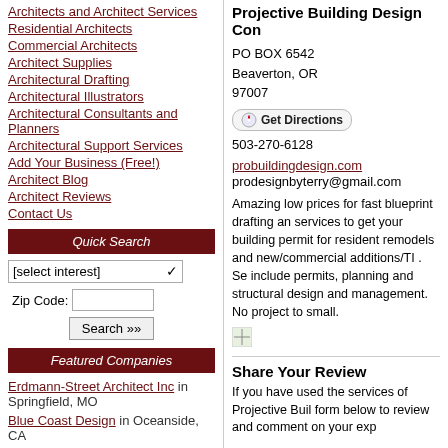Architects and Architect Services
Residential Architects
Commercial Architects
Architect Supplies
Architectural Drafting
Architectural Illustrators
Architectural Consultants and Planners
Architectural Support Services
Add Your Business (Free!)
Architect Blog
Architect Reviews
Contact Us
Quick Search
Featured Companies
Erdmann-Street Architect Inc in Springfield, MO
Blue Coast Design in Oceanside, CA
Projective Building Design Con
PO BOX 6542
Beaverton, OR
97007
503-270-6128
probuildingdesign.com
prodesignbyterry@gmail.com
Amazing low prices for fast blueprint drafting and services to get your building permit for residential remodels and new/commercial additions/TI . Se include permits, planning and structural design and management. No project to small.
Share Your Review
If you have used the services of Projective Buil form below to review and comment on your exp